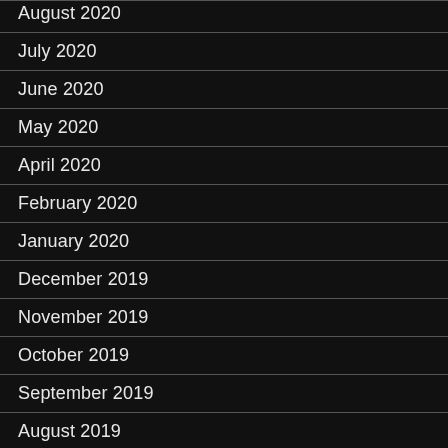August 2020
July 2020
June 2020
May 2020
April 2020
February 2020
January 2020
December 2019
November 2019
October 2019
September 2019
August 2019
July 2019